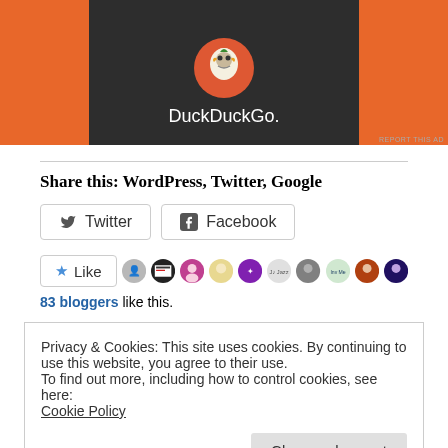[Figure (screenshot): DuckDuckGo advertisement banner with orange background and dark center panel showing DuckDuckGo logo and name]
REPORT THIS AD
Share this: WordPress, Twitter, Google
[Figure (screenshot): Twitter and Facebook share buttons]
[Figure (screenshot): Like button with star icon and blogger avatars]
83 bloggers like this.
Privacy & Cookies: This site uses cookies. By continuing to use this website, you agree to their use.
To find out more, including how to control cookies, see here:
Cookie Policy
Close and accept
In "Awards, Blogging